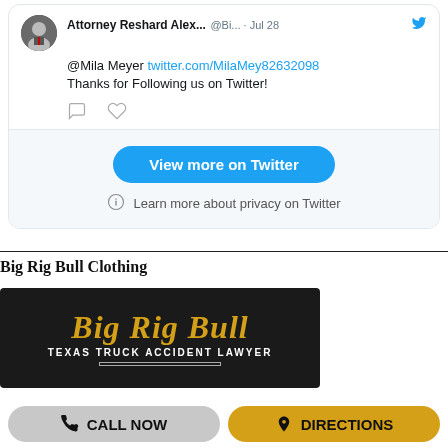@Mila Meyer twitter.com/MilaMey82632098
Thanks for Following us on Twitter!
[Figure (screenshot): Twitter widget footer with 'View more on Twitter' blue button and privacy info link]
View more on Twitter
Learn more about privacy on Twitter
Big Rig Bull Clothing
[Figure (logo): Big Rig Bull Texas Truck Accident Lawyer advertisement banner with gold script text on dark background]
CALL NOW
DIRECTIONS